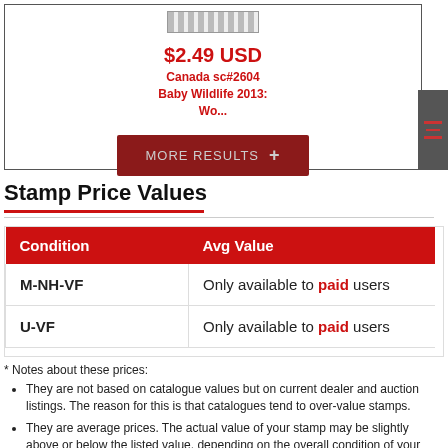[Figure (other): Stamp image placeholder with perforated edge appearance]
$2.49 USD
Canada sc#2604
Baby Wildlife 2013:
Wo...
MORE RESULTS +
Stamp Price Values
| Condition | Avg Value |
| --- | --- |
| M-NH-VF | Only available to paid users |
| U-VF | Only available to paid users |
* Notes about these prices:
They are not based on catalogue values but on current dealer and auction listings. The reason for this is that catalogues tend to over-value stamps.
They are average prices. The actual value of your stamp may be slightly above or below the listed value, depending on the overall condition of your stamp. Use these prices as a guide to determine